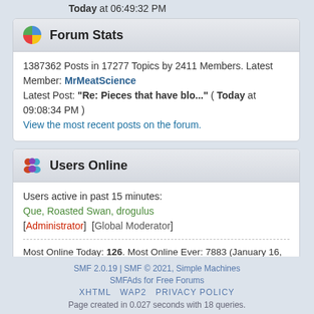Today at 06:49:32 PM
Forum Stats
1387362 Posts in 17277 Topics by 2411 Members. Latest Member: MrMeatScience
Latest Post: "Re: Pieces that have blo..." ( Today at 09:08:34 PM )
View the most recent posts on the forum.
Users Online
Users active in past 15 minutes:
Que, Roasted Swan, drogulus
[Administrator]  [Global Moderator]
Most Online Today: 126. Most Online Ever: 7883 (January 16, 2020, 09:08:02 AM)
SMF 2.0.19 | SMF © 2021, Simple Machines
SMFAds for Free Forums
XHTML   WAP2   PRIVACY POLICY
Page created in 0.027 seconds with 18 queries.